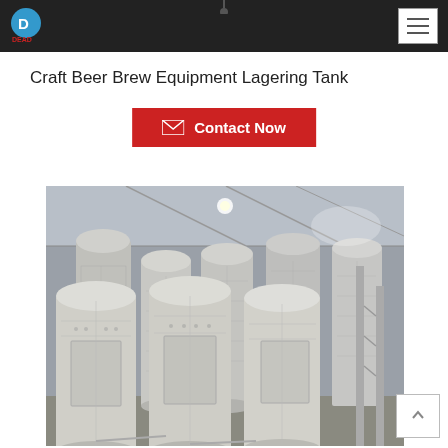Navigation bar with logo and hamburger menu
Craft Beer Brew Equipment Lagering Tank
[Figure (other): Red Contact Now button with envelope icon]
[Figure (photo): Industrial brewery with multiple large stainless steel lagering tanks inside a warehouse facility]